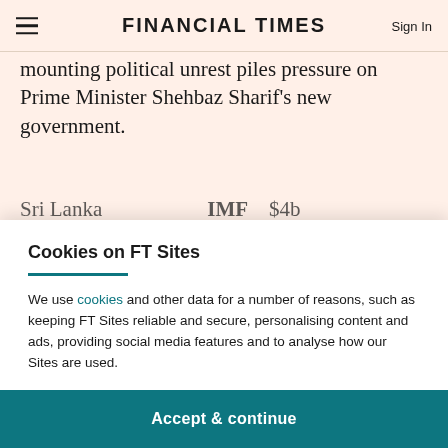FINANCIAL TIMES
mounting political unrest piles pressure on Prime Minister Shehbaz Sharif's new government.
Cookies on FT Sites
We use cookies and other data for a number of reasons, such as keeping FT Sites reliable and secure, personalising content and ads, providing social media features and to analyse how our Sites are used.
Manage cookies
Accept & continue